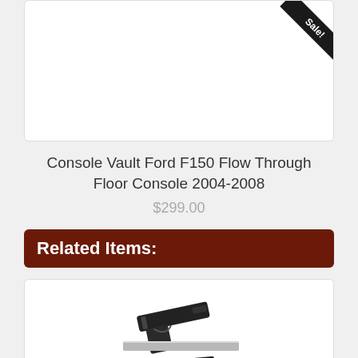[Figure (photo): Product image area with a 'Sale!' banner in the top-right corner (dark diagonal ribbon)]
Console Vault Ford F150 Flow Through Floor Console 2004-2008
$299.00
Related Items:
[Figure (photo): Image of two handguns stacked with a silver bar/slide between them]